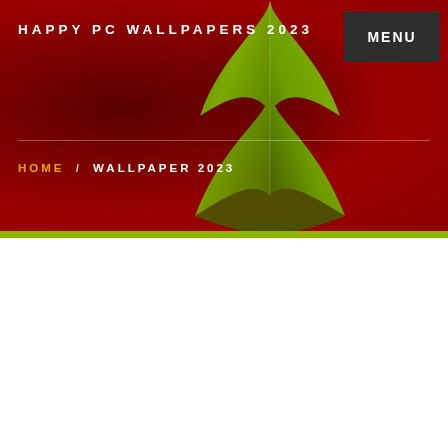HAPPY PC WALLPAPERS 2023
[Figure (illustration): Green stylized Christmas tree graphic on dark red background header banner with a lime green stripe at the bottom]
HOME / WALLPAPER 2023